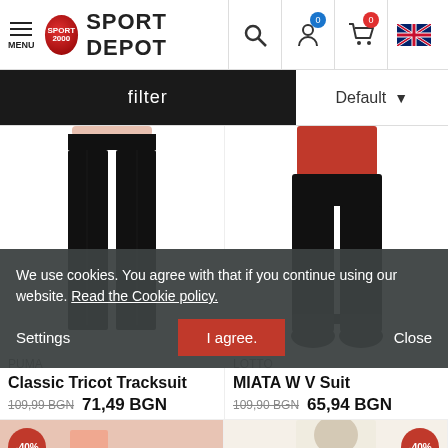SPORT DEPOT - Menu, Search, Account, Cart, Language selector
filter
Default
[Figure (photo): Puma Classic Tricot Tracksuit - black pants on a model, cropped view showing legs]
PUMA
Classic Tricot Tracksuit
109,99 BGN 71,49 BGN
[Figure (photo): Lotto MIATA W V Suit - black jogger pants on a model with sneakers]
LOTTO
MIATA W V Suit
109,90 BGN 65,94 BGN
We use cookies. You agree with that if you continue using our website. Read the Cookie policy.
Settings
I agree.
Close
[Figure (photo): Partial product images with -40% discount badges at bottom of page]